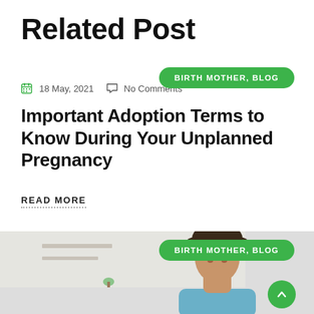Related Post
18 May, 2021   No Comments
BIRTH MOTHER, BLOG
Important Adoption Terms to Know During Your Unplanned Pregnancy
READ MORE
[Figure (photo): A young Black woman with curly hair looking down thoughtfully, chin resting on hand, in a bright interior setting with shelves in background. Green badge reading BIRTH MOTHER, BLOG overlaid in upper right. Green scroll-up arrow button in lower right.]